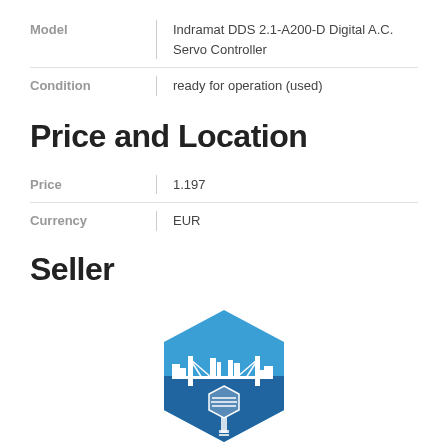| Field | Value |
| --- | --- |
| Model | Indramat DDS 2.1-A200-D Digital A.C. Servo Controller |
| Condition | ready for operation (used) |
Price and Location
| Field | Value |
| --- | --- |
| Price | 1.197 |
| Currency | EUR |
Seller
[Figure (logo): Blue hexagon-shaped logo with white cityscape and bridge silhouette above a bolt/screw graphic]